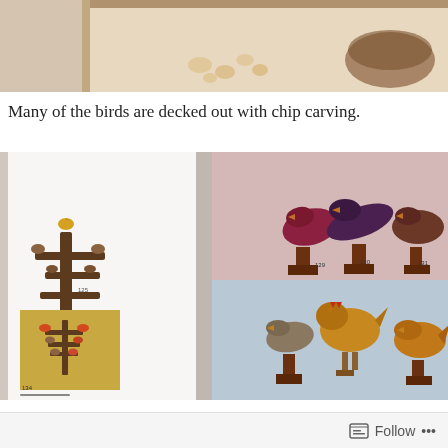[Figure (photo): Top portion of a book page showing carved bird figurines and small objects on a tan/beige background, cropped at top]
Many of the birds are decked out with chip carving.
[Figure (photo): Open book spread showing carved wooden bird figurines on display. Left page shows a decorative tree sculpture with multiple birds and a smaller image of similar tree. Right page shows three polished birds on pedestals (top) and three rustic bird carvings (bottom) on a blue background. Various catalog numbers visible (125, 129, 130, 131, 134).]
Follow